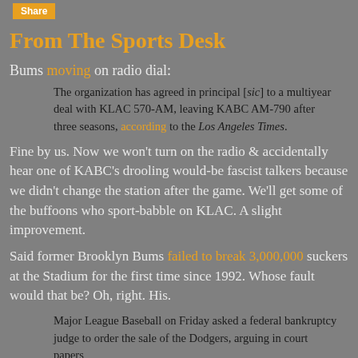Share
From The Sports Desk
Bums moving on radio dial:
The organization has agreed in principal [sic] to a multiyear deal with KLAC 570-AM, leaving KABC AM-790 after three seasons, according to the Los Angeles Times.
Fine by us. Now we won't turn on the radio & accidentally hear one of KABC's drooling would-be fascist talkers because we didn't change the station after the game. We'll get some of the buffoons who sport-babble on KLAC. A slight improvement.
Said former Brooklyn Bums failed to break 3,000,000 suckers at the Stadium for the first time since 1992. Whose fault would that be? Oh, right. His.
Major League Baseball on Friday asked a federal bankruptcy judge to order the sale of the Dodgers, arguing in court papers